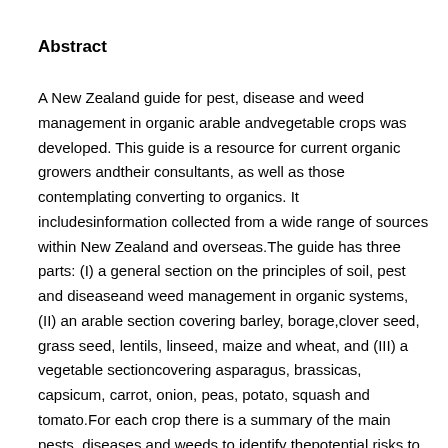Abstract
A New Zealand guide for pest, disease and weed management in organic arable andvegetable crops was developed. This guide is a resource for current organic growers andtheir consultants, as well as those contemplating converting to organics. It includesinformation collected from a wide range of sources within New Zealand and overseas.The guide has three parts: (I) a general section on the principles of soil, pest and diseaseand weed management in organic systems, (II) an arable section covering barley, borage,clover seed, grass seed, lentils, linseed, maize and wheat, and (III) a vegetable sectioncovering asparagus, brassicas, capsicum, carrot, onion, peas, potato, squash and tomato.For each crop there is a summary of the main pests, diseases and weeds to identify thepotential risks to organic growing. The options for preventing or managing these risksthat